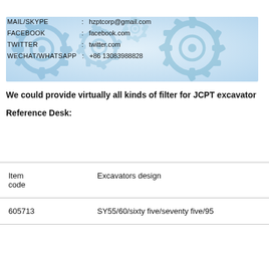MAIL/SKYPE   :   hzptcorp@gmail.com
FACEBOOK   :   facebook.com
TWITTER   :   twitter.com
WECHAT/WHATSAPP   :   +86 13083988828
[Figure (illustration): Background banner image with blue/white gear/cog wheel pattern]
We could provide virtually all kinds of filter for JCPT excavator
Reference Desk:
| Item code | Excavators design |
| --- | --- |
| 605713 | SY55/60/sixty five/seventy five/95 |